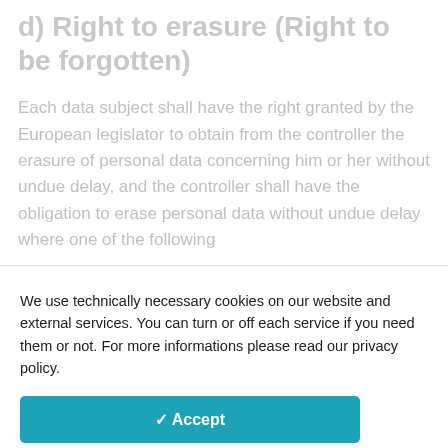d) Right to erasure (Right to be forgotten)
Each data subject shall have the right granted by the European legislator to obtain from the controller the erasure of personal data concerning him or her without undue delay, and the controller shall have the obligation to erase personal data without undue delay where one of the following
We use technically necessary cookies on our website and external services. You can turn or off each service if you need them or not. For more informations please read our privacy policy.
✓ Accept
Customize